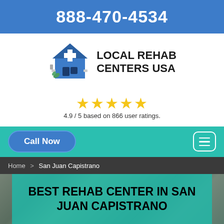888-470-4534
[Figure (logo): Local Rehab Centers USA logo with stylized hospital building and medical items icon]
LOCAL REHAB CENTERS USA
4.9 / 5 based on 866 user ratings.
Call Now
Home > San Juan Capistrano
BEST REHAB CENTER IN SAN JUAN CAPISTRANO